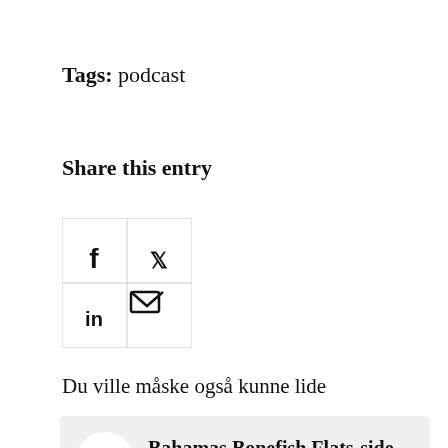Tags: podcast
Share this entry
[Figure (other): Social sharing icons grid: Facebook (f), Twitter (bird), LinkedIn (in), Email (envelope)]
Du ville måske også kunne lide
Bahamas Bonefish Flats-side Essay – Ssn. 2, Ep. 20
This site uses cookies. By continuing to browse the site, you are agreeing to our use of cookies.
OK